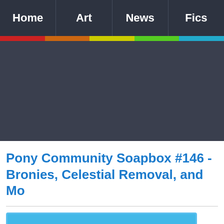Home | Art | News | Fics
Pony Community Soapbox #146 - Bronies, Celestial Removal, and More
[Figure (illustration): Pony Community Soapbox banner image with blue background, large bold white text reading 'Pony' with black outline, and gold decorative circles in the corner]